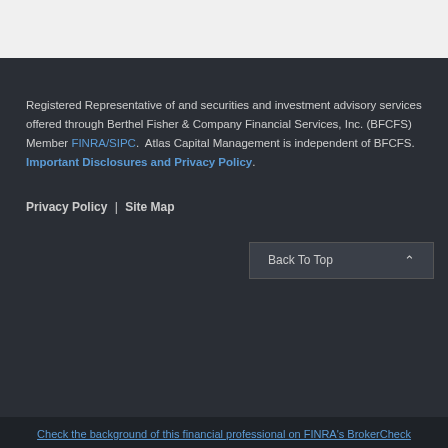Registered Representative of and securities and investment advisory services offered through Berthel Fisher & Company Financial Services, Inc. (BFCFS) Member FINRA/SIPC.  Atlas Capital Management is independent of BFCFS. Important Disclosures and Privacy Policy.
Privacy Policy | Site Map
Back To Top
Check the background of this financial professional on FINRA's BrokerCheck